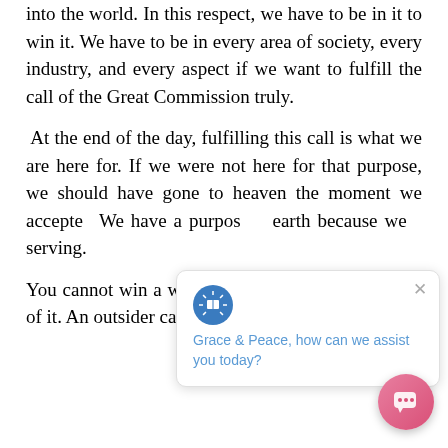into the world. In this respect, we have to be in it to win it. We have to be in every area of society, every industry, and every aspect if we want to fulfill the call of the Great Commission truly.
At the end of the day, fulfilling this call is what we are here for. If we were not here for that purpose, we should have gone to heaven the moment we accepte[d...] We have a purpos[e on] earth because we [are] serving.
You cannot win a world for Christ if you ar[e not] a part of it. An outsider cannot beat the
[Figure (screenshot): Chat widget overlay showing a logo with rays/book design and text 'Grace & Peace, how can we assist you today?' with a close X button, and a pink circular FAB chat button in the bottom right corner.]